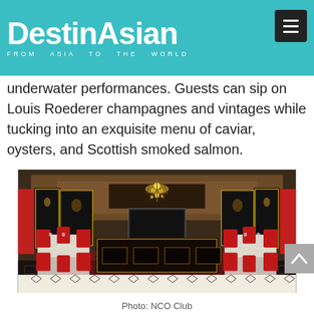DestinAsian — FROM ASIA TO THE WORLD
underwater performances. Guests can sip on Louis Roederer champagnes and vintages while tucking into an exquisite menu of caviar, oysters, and Scottish smoked salmon.
[Figure (photo): Interior of an elegant restaurant/dining room with red velvet chairs, dark wood bar, ornate chandelier, mirrored walls with red drapes, and patterned floor.]
Photo: NCO Club